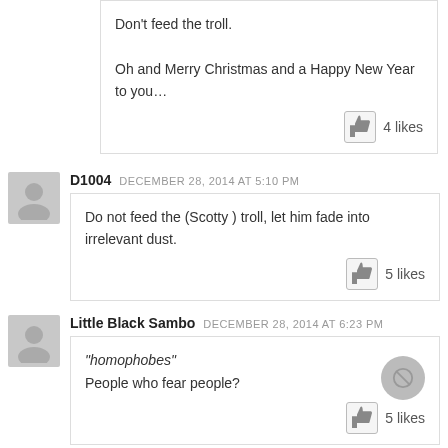Don't feed the troll.

Oh and Merry Christmas and a Happy New Year to you…
4 likes
D1004  DECEMBER 28, 2014 AT 5:10 PM
Do not feed the (Scotty ) troll, let him fade into irrelevant dust.
5 likes
Little Black Sambo  DECEMBER 28, 2014 AT 6:23 PM
"homophobes"
People who fear people?
5 likes